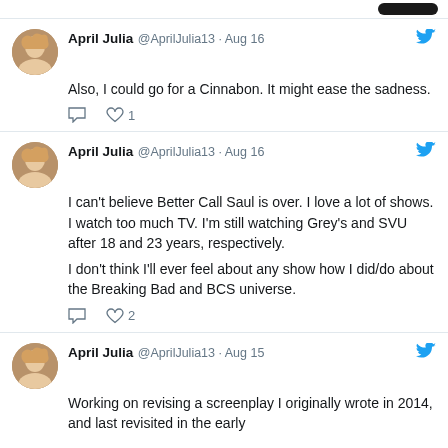April Julia @AprilJulia13 · Aug 16 — Also, I could go for a Cinnabon. It might ease the sadness.
April Julia @AprilJulia13 · Aug 16 — I can't believe Better Call Saul is over. I love a lot of shows. I watch too much TV. I'm still watching Grey's and SVU after 18 and 23 years, respectively. I don't think I'll ever feel about any show how I did/do about the Breaking Bad and BCS universe.
April Julia @AprilJulia13 · Aug 15 — Working on revising a screenplay I originally wrote in 2014, and last revisited in the early